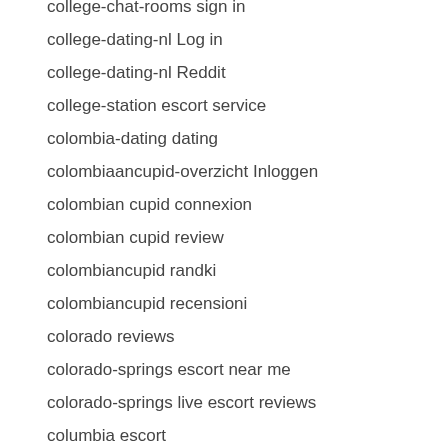college-chat-rooms sign in
college-dating-nl Log in
college-dating-nl Reddit
college-station escort service
colombia-dating dating
colombiaancupid-overzicht Inloggen
colombian cupid connexion
colombian cupid review
colombiancupid randki
colombiancupid recensioni
colorado reviews
colorado-springs escort near me
colorado-springs live escort reviews
columbia escort
columbia-1 escort index